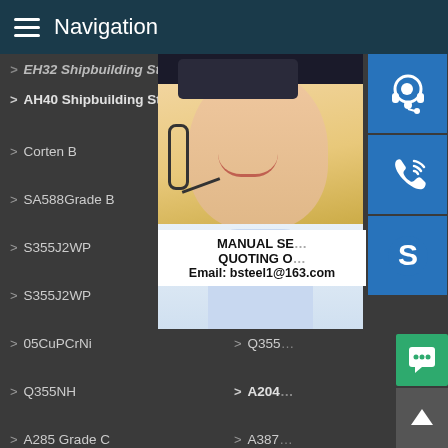Navigation
EH32 Shipbuilding Steel
AH36
AH40 Shipbuilding Steel
Corten
Corten B
A588
SA588Grade B
S355J
S355J2WP
S355J
S355J2WP
09CuP
05CuPCrNi
Q355
Q355NH
A204
A285 Grade C
A387
CA387 Grade 11 Class2
A387 Grade 12 Class1
BUILDING-LIKE SAND-MAKER
A387 Grade 12 Class2
A516 Grade 70
A537 Class 1
P235GH
50CrMo4
51CrV4
[Figure (photo): Customer service representative photo with headset, overlaid with contact icons (headset icon, phone icon, Skype icon) and popup showing MANUAL SE... QUOTING O... Email: bsteel1@163.com]